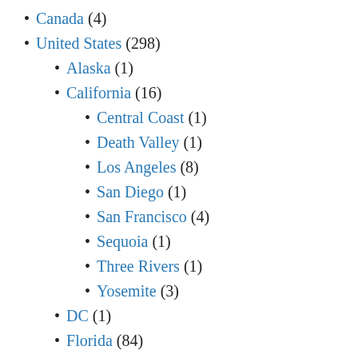Canada (4)
United States (298)
Alaska (1)
California (16)
Central Coast (1)
Death Valley (1)
Los Angeles (8)
San Diego (1)
San Francisco (4)
Sequoia (1)
Three Rivers (1)
Yosemite (3)
DC (1)
Florida (84)
Miami (2)
Orlando (77)